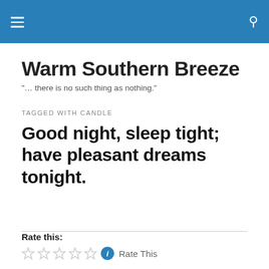Warm Southern Breeze [navigation header with hamburger menu and search icon]
Warm Southern Breeze
"… there is no such thing as nothing."
TAGGED WITH CANDLE
Good night, sleep tight; have pleasant dreams tonight.
Rate this:
[Figure (other): Five empty star rating icons followed by a blue info icon and the text 'Rate This']